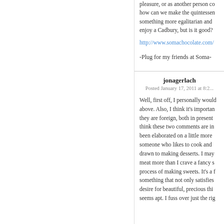pleasure, or as another person co... how can we make the quintessen... something more egalitarian and... enjoy a Cadbury, but is it good? ...
http://www.somachocolate.com/
-Plug for my friends at Soma-
jonagerlach
Posted January 17, 2011 at 8:2...
Well, first off, I personally would... above. Also, I think it's importan... they are foreign, both in present... think these two comments are in... been elaborated on a little more... someone who likes to cook and... drawn to making desserts. I may... meat more than I crave a fancy s... process of making sweets. It's a f... something that not only satisfies... desire for beautiful, precious thi... seems apt. I fuss over just the rig...